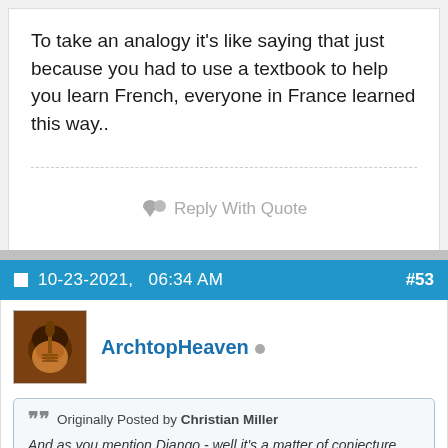To take an analogy it's like saying that just because you had to use a textbook to help you learn French, everyone in France learned this way..
Reply With Quote
10-23-2021,  06:34 AM  #53
ArchtopHeaven
Originally Posted by Christian Miller
And as you mention Django - well it's a matter of conjecture how he thought about music, but again learning his music by ear is the way Manouche and